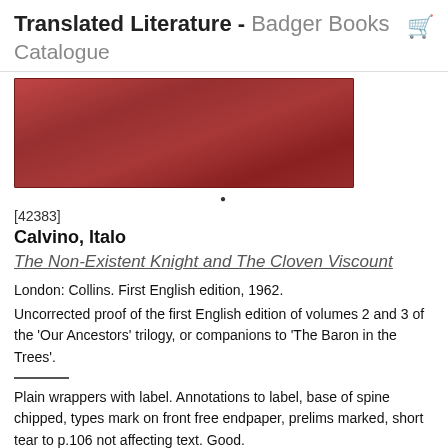Translated Literature - Badger Books Catalogue
[Figure (photo): Partial view of a red book cover, shown cropped at the top]
[42383]
Calvino, Italo
The Non-Existent Knight and The Cloven Viscount
London: Collins. First English edition, 1962.
Uncorrected proof of the first English edition of volumes 2 and 3 of the 'Our Ancestors' trilogy, or companions to 'The Baron in the Trees'.
Plain wrappers with label. Annotations to label, base of spine chipped, types mark on front free endpaper, prelims marked, short tear to p.106 not affecting text. Good.